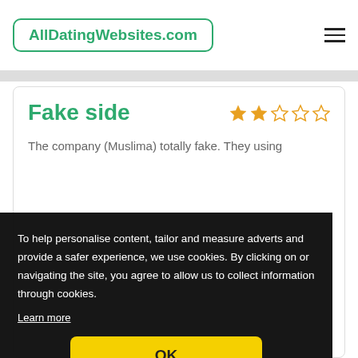AllDatingWebsites.com
Fake side
[Figure (other): Star rating: 2 out of 5 stars (2 filled, 3 empty), gold/orange color]
The company (Muslima) totally fake. They using
To help personalise content, tailor and measure adverts and provide a safer experience, we use cookies. By clicking on or navigating the site, you agree to allow us to collect information through cookies.
Learn more
OK